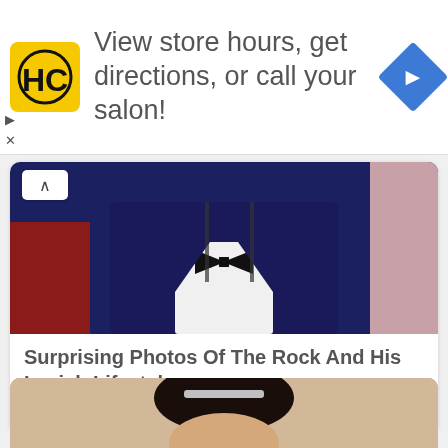[Figure (infographic): HC (Hair Club) logo ad banner: yellow square logo with HC text, navigation arrow diamond icon, text 'View store hours, get directions, or call your salon!']
View store hours, get directions, or call your salon!
[Figure (photo): Man in blue velvet tuxedo jacket with black bow tie at formal event, woman in pink dress visible at right edge]
Surprising Photos Of The Rock And His Lavish Lifestyle
Brainberries
[Figure (photo): Woman with dark hair up in bun with silver hair accessory, indoors with warm lamp light in background]